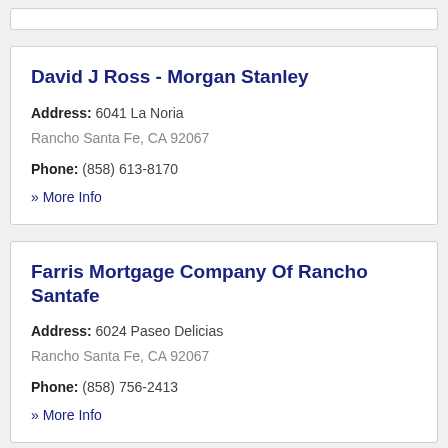David J Ross - Morgan Stanley
Address: 6041 La Noria
Rancho Santa Fe, CA 92067
Phone: (858) 613-8170
» More Info
Farris Mortgage Company Of Rancho Santafe
Address: 6024 Paseo Delicias
Rancho Santa Fe, CA 92067
Phone: (858) 756-2413
» More Info